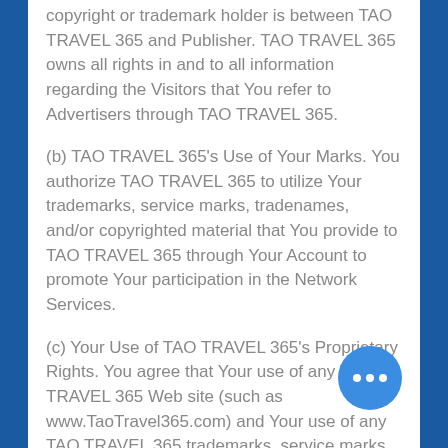copyright or trademark holder is between TAO TRAVEL 365 and Publisher. TAO TRAVEL 365 owns all rights in and to all information regarding the Visitors that You refer to Advertisers through TAO TRAVEL 365.
(b) TAO TRAVEL 365's Use of Your Marks. You authorize TAO TRAVEL 365 to utilize Your trademarks, service marks, tradenames, and/or copyrighted material that You provide to TAO TRAVEL 365 through Your Account to promote Your participation in the Network Services.
(c) Your Use of TAO TRAVEL 365's Proprietary Rights. You agree that Your use of any TAO TRAVEL 365 Web site (such as www.TaoTravel365.com) and Your use of any TAO TRAVEL 365 trademarks, service marks, tradenames, and/or URL is subject to...